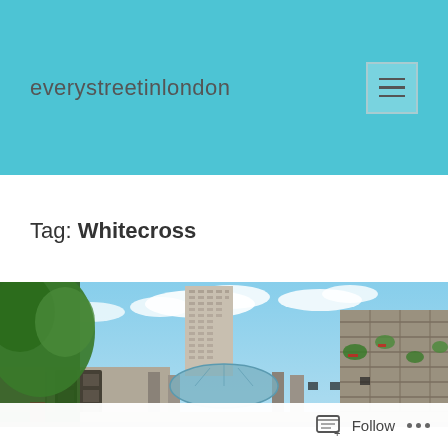everystreetinlondon
Tag: Whitecross
[Figure (photo): Photo of the Barbican Estate in London, showing a tall residential tower block rising above lower brutalist concrete buildings, with a glass-domed structure in the centre and a large tree with green foliage on the left. Blue sky with clouds in the background.]
Follow ...